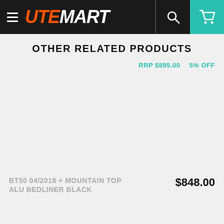[Figure (screenshot): UTEmart website header with hamburger menu icon, UTEmart logo in orange italic and white italic text, search icon, and teal cart icon on dark background]
OTHER RELATED PRODUCTS
RRP $895.00   5% OFF
[Figure (photo): Product image area (blank/not loaded) for BT50 04/2018 + Mountain Top Alu Bedliner Black]
BT50 04/2018 + MOUNTAIN TOP ALU BEDLINER BLACK   $848.00